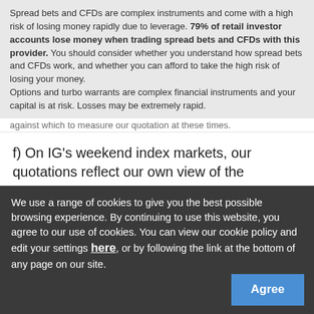Spread bets and CFDs are complex instruments and come with a high risk of losing money rapidly due to leverage. 79% of retail investor accounts lose money when trading spread bets and CFDs with this provider. You should consider whether you understand how spread bets and CFDs work, and whether you can afford to take the high risk of losing your money.
Options and turbo warrants are complex financial instruments and your capital is at risk. Losses may be extremely rapid.
against which to measure our quotation at these times.
f) On IG's weekend index markets, our quotations reflect our own view of the prospects for each market. This could include analysing specific market or geographic news flow that may affect the equity index market we are pricing. Furthermore, business done by other clients may itself affect our quotations. There may be nothing against which to measure our quotation at these times.
CFDs on cash stock indices are undated transactions that do not expire. For each day that a position is held, adjustments are calculated to reflect the e...
We use a range of cookies to give you the best possible browsing experience. By continuing to use this website, you agree to our use of cookies. You can view our cookie policy and edit your settings here, or by following the link at the bottom of any page on our site.